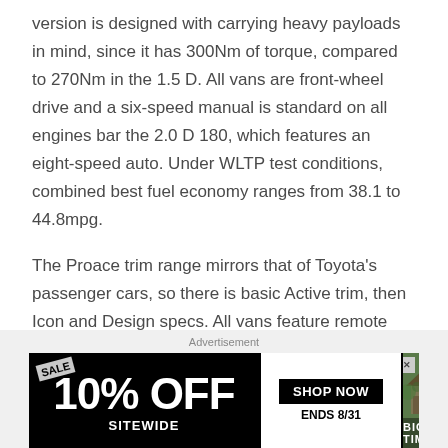version is designed with carrying heavy payloads in mind, since it has 300Nm of torque, compared to 270Nm in the 1.5 D. All vans are front-wheel drive and a six-speed manual is standard on all engines bar the 2.0 D 180, which features an eight-speed auto. Under WLTP test conditions, combined best fuel economy ranges from 38.1 to 44.8mpg.
The Proace trim range mirrors that of Toyota's passenger cars, so there is basic Active trim, then Icon and Design specs. All vans feature remote central locking, a steel bulkhead, cruise control, electric windows and mirrors
[Figure (other): Advertisement banner: '10% OFF SITEWIDE' sale ad with 'SHOP NOW ENDS 8/31' button and Big Timber outdoor furniture brand image showing a gazebo.]